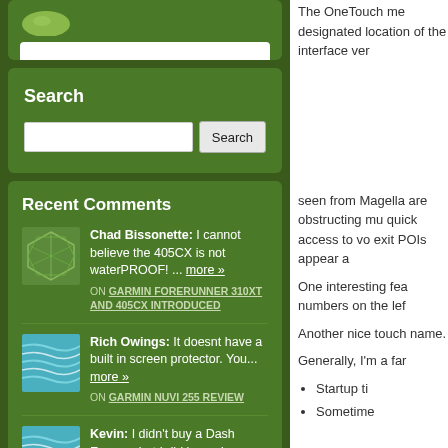[Figure (screenshot): Partial top widget with green leaf logo on dark green background]
Search
Search input and button
Recent Comments
Chad Bissonette: I cannot believe the 405CX is not waterPROOF! ... more »
ON GARMIN FORERUNNER 310XT AND 405CX INTRODUCED
Rich Owings: It doesnt have a built in screen protector. You... more »
ON GARMIN NUVI 255 REVIEW
Kevin: I didn't buy a Dash Express but I did buy a Low... more »
The OneTouch me designated location of the interface ver
seen from Magella are obstructing mu quick access to vo exit POIs appear a
One interesting fea numbers on the lef
Another nice touch name.
Generally, I'm a far
Startup ti
Sometime